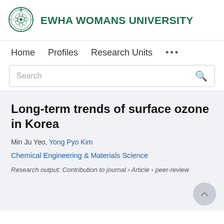[Figure (logo): Ewha Womans University circular seal/crest in green, alongside the university name]
EWHA WOMANS UNIVERSITY
Home
Profiles
Research Units
...
Long-term trends of surface ozone in Korea
Min Ju Yeo, Yong Pyo Kim
Chemical Engineering & Materials Science
Research output: Contribution to journal › Article › peer-review